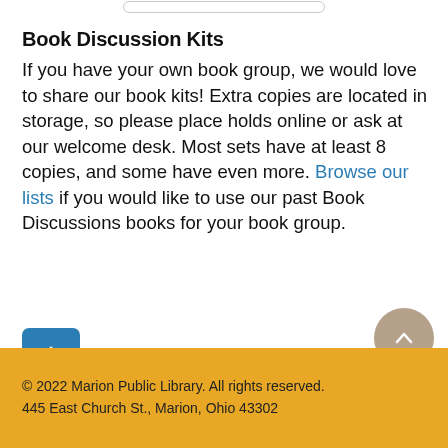Book Discussion Kits
If you have your own book group, we would love to share our book kits! Extra copies are located in storage, so please place holds online or ask at our welcome desk. Most sets have at least 8 copies, and some have even more. Browse our lists if you would like to use our past Book Discussions books for your book group.
[Figure (other): Blue square button with white plus sign icon]
Print
© 2022 Marion Public Library. All rights reserved.
445 East Church St., Marion, Ohio 43302